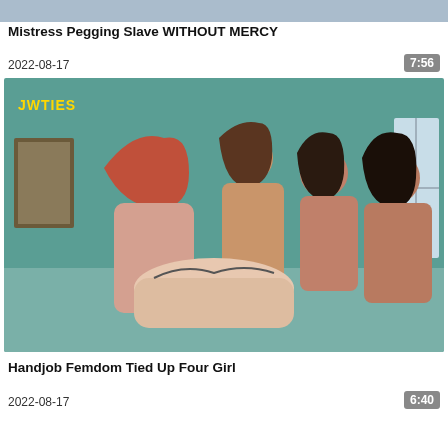[Figure (photo): Partial thumbnail image at top of page, cropped]
Mistress Pegging Slave WITHOUT MERCY
2022-08-17
7:56
[Figure (photo): Video thumbnail showing four women around a bound person, with JWTIES watermark in yellow]
Handjob Femdom Tied Up Four Girl
2022-08-17
6:40